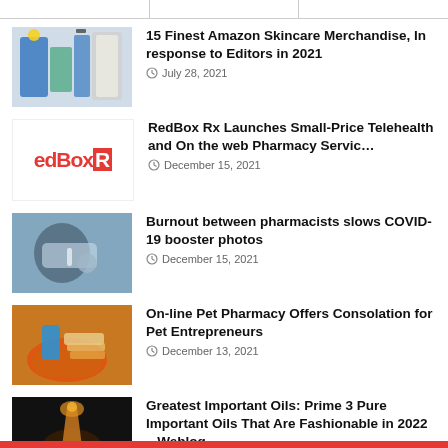15 Finest Amazon Skincare Merchandise, In response to Editors in 2021 — July 28, 2021
RedBox Rx Launches Small-Price Telehealth and On the web Pharmacy Servic… — December 15, 2021
Burnout between pharmacists slows COVID-19 booster photos — December 15, 2021
On-line Pet Pharmacy Offers Consolation for Pet Entrepreneurs — December 13, 2021
Greatest Important Oils: Prime 3 Pure Important Oils That Are Fashionable in 2022 – Weblog